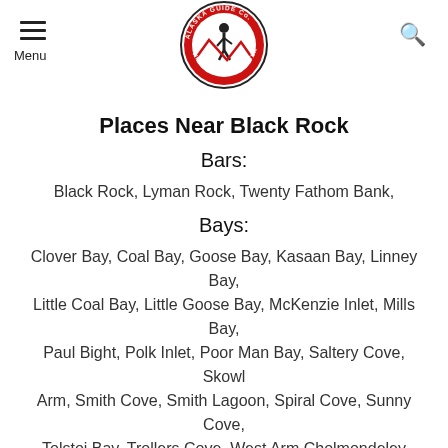Menu | Alaska Guide Co. Wilderness Adventures logo | Search
Places Near Black Rock
Bars:
Black Rock, Lyman Rock, Twenty Fathom Bank,
Bays:
Clover Bay, Coal Bay, Goose Bay, Kasaan Bay, Linney Bay, Little Coal Bay, Little Goose Bay, McKenzie Inlet, Mills Bay, Paul Bight, Polk Inlet, Poor Man Bay, Saltery Cove, Skowl Arm, Smith Cove, Smith Lagoon, Spiral Cove, Sunny Cove, Tolstoi Bay, Trollers Cove, West Arm Cholmondeley Sound,